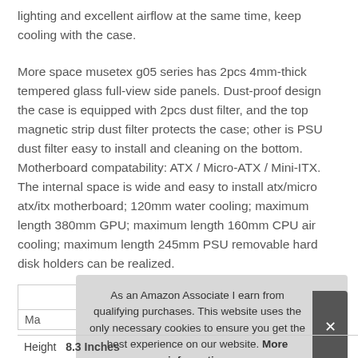lighting and excellent airflow at the same time, keep cooling with the case.
More space musetex g05 series has 2pcs 4mm-thick tempered glass full-view side panels. Dust-proof design the case is equipped with 2pcs dust filter, and the top magnetic strip dust filter protects the case; other is PSU dust filter easy to install and cleaning on the bottom. Motherboard compatability: ATX / Micro-ATX / Mini-ITX. The internal space is wide and easy to install atx/micro atx/itx motherboard; 120mm water cooling; maximum length 380mm GPU; maximum length 160mm CPU air cooling; maximum length 245mm PSU removable hard disk holders can be realized.
| Ma |  |
| Height | 8.3 Inches |
As an Amazon Associate I earn from qualifying purchases. This website uses the only necessary cookies to ensure you get the best experience on our website. More information